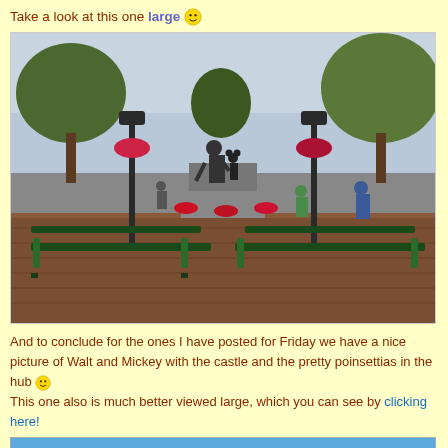Take a look at this one large 🙂
[Figure (photo): Photo of Walt Disney and Mickey Mouse statue in Disneyland hub plaza, with park benches in foreground, lamp posts with red flower baskets, brick pathway, trees, and visitors in background.]
And to conclude for the ones I have posted for Friday we have a nice picture of Walt and Mickey with the castle and the pretty poinsettias in the hub 🙂 This one also is much better viewed large, which you can see by clicking here!
[Figure (photo): Partial blue-sky photograph visible at bottom of page.]